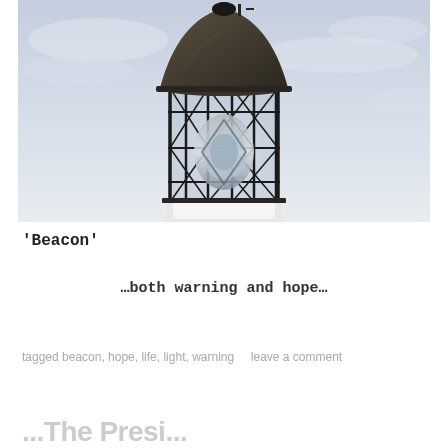[Figure (photo): Close-up photograph of a lighthouse lantern room top — a dark domed metal roof over a glass-paneled cylindrical housing with black metal cross-bracing, a large Fresnel lens visible inside, set against a pale overcast sky.]
‘Beacon’
…both warning and hope…
tagged beacon, hope, life, light, warning     leave a comment
...The Presi...